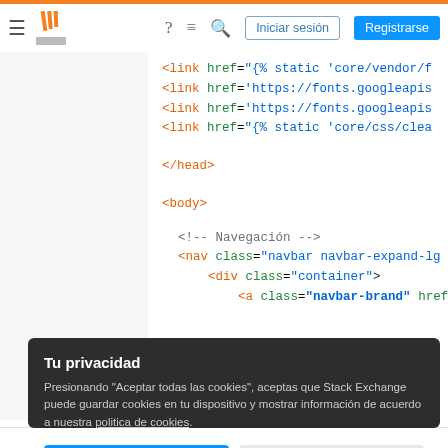[Figure (screenshot): Stack Exchange/Overflow website navigation bar with hamburger menu, logo, help icon, chat icon, search icon, login and register buttons]
<link href="{% static 'core/vendor/f"
<link href='https://fonts.googleapis
<link href='https://fonts.googleapis
<link href="{% static 'core/css/clea"
</head>
<body>
<!-- Navegación -->
<nav class="navbar navbar-expand-lg"
  <div class="container">
    <a class="navbar-brand" href="{%
Tu privacidad
Presionando "Aceptar todas las cookies", aceptas que Stack Exchange puede guardar cookies en tu dispositivo y mostrar información de acuerdo a nuestra politica de cookies.
[Figure (screenshot): Cookie consent dialog with 'Aceptar todas las cookies' and 'Personalizar las configuraciones' buttons]